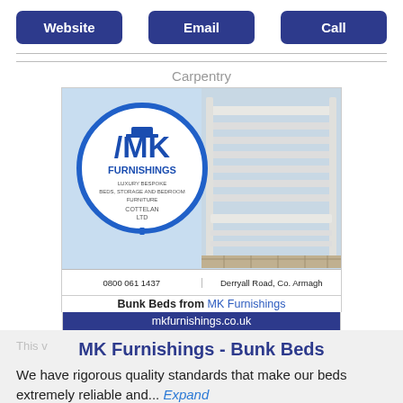Website | Email | Call (top buttons)
Carpentry
[Figure (photo): MK Furnishings advertisement showing bunk beds and logo with address: 0800 061 1437, Derryall Road, Co. Armagh, mkfurnishings.co.uk]
Bunk Beds from MK Furnishings
mkfurnishings.co.uk
MK Furnishings - Bunk Beds
We have rigorous quality standards that make our beds extremely reliable and... Expand
Website | Email | Call (bottom buttons)
Storage